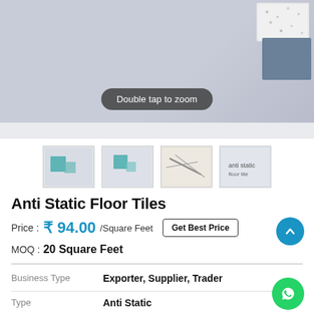[Figure (photo): Main product photo of anti static floor tiles, blue-grey background with tile samples visible top right. Overlay text: Double tap to zoom]
[Figure (photo): Row of four product thumbnail images showing anti static floor tiles from various angles]
Anti Static Floor Tiles
Price : ₹ 94.00 / Square Feet   Get Best Price
MOQ : 20 Square Feet
|  |  |
| --- | --- |
| Business Type | Exporter, Supplier, Trader |
| Type | Anti Static |